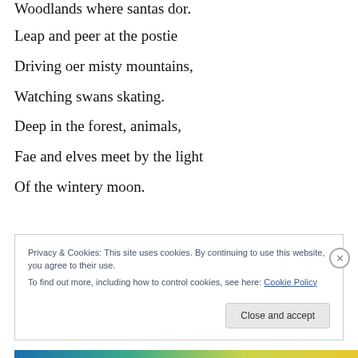Woodlands where santas dor.
Leap and peer at the postie
Driving oer misty mountains,
Watching swans skating.
Deep in the forest, animals,
Fae and elves meet by the light
Of the wintery moon.
Privacy & Cookies: This site uses cookies. By continuing to use this website, you agree to their use. To find out more, including how to control cookies, see here: Cookie Policy